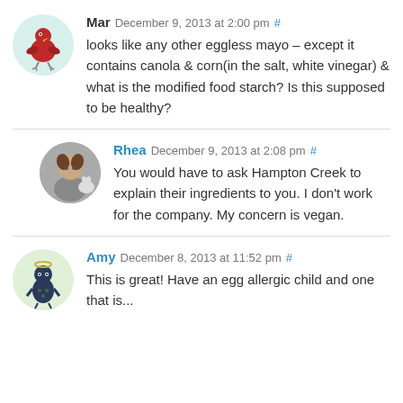Mar December 9, 2013 at 2:00 pm #
looks like any other eggless mayo – except it contains canola & corn(in the salt, white vinegar) & what is the modified food starch? Is this supposed to be healthy?
Rhea December 9, 2013 at 2:08 pm #
You would have to ask Hampton Creek to explain their ingredients to you. I don't work for the company. My concern is vegan.
Amy December 8, 2013 at 11:52 pm #
This is great! Have an egg allergic child and one that is...